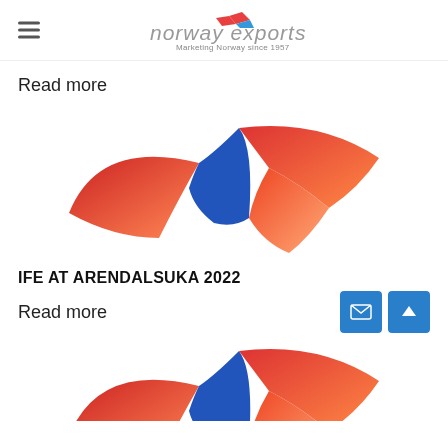norway exports — Marketing Norway since 1957
Read more
[Figure (logo): Arendalsuka 2022 event logo with red and blue swoosh shapes]
IFE AT ARENDALSUKA 2022
Read more
[Figure (logo): Arendalsuka 2022 event logo (partial, cropped at bottom)]